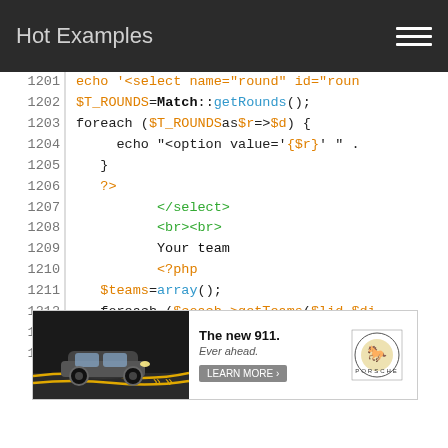Hot Examples
[Figure (screenshot): Code viewer showing PHP source lines 1201-1214]
[Figure (photo): Porsche 911 advertisement banner: 'The new 911. Ever ahead. LEARN MORE']